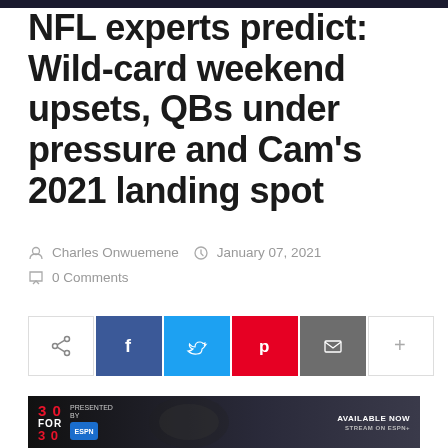NFL experts predict: Wild-card weekend upsets, QBs under pressure and Cam's 2021 landing spot
Charles Onwuemene   January 07, 2021
0 Comments
[Figure (infographic): Social share buttons row: share icon (outline), Facebook (blue), Twitter (light blue), Pinterest (red), Email (grey), Plus/more (light grey outline)]
[Figure (photo): Promotional banner: 30 FOR 30 presented by [logo], AVAILABLE NOW, man in suit, dark background]